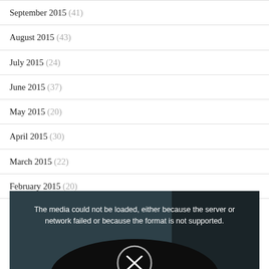September 2015 (41)
August 2015 (43)
July 2015 (24)
June 2015 (37)
May 2015 (20)
April 2015 (30)
March 2015 (22)
February 2015 (20)
[Figure (screenshot): Media player error message on dark background: 'The media could not be loaded, either because the server or network failed or because the format is not supported.' with a circular X icon visible at the bottom.]